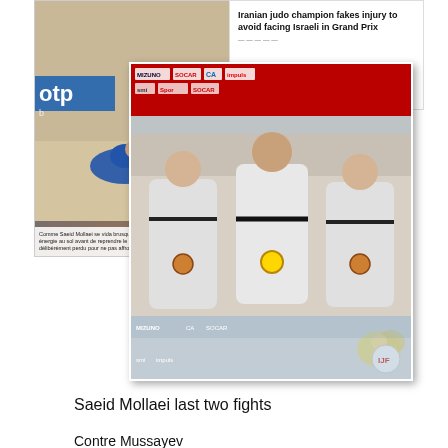[Figure (photo): Collage of three images: a judo match photo with an athlete bowing/injured on mat and 'otpb' logo visible, a news article headline reading 'Iranian judo champion fakes injury to avoid facing Israeli in Grand Prix', and a podium photo of three judo athletes in white judogi holding medals at what appears to be the Paris Grand Slam 2019.]
Saeid Mollaei last two fights
Contre Mussayev
https://live.ijf.org/gs_fra2019/contest_video/gs_fra2019_m_0081_0057
Le combat pour la médaille de bronze (et sa blessure)
https://live.ijf.org/gs_fra2019/contest_video/gs_fra2019_m_0081_0065
More details about the “Miraeslaeili case” in « affaire Miresmaeili » in « Ondes de choc, conflits politico-culturels et développement du judo mondial » research